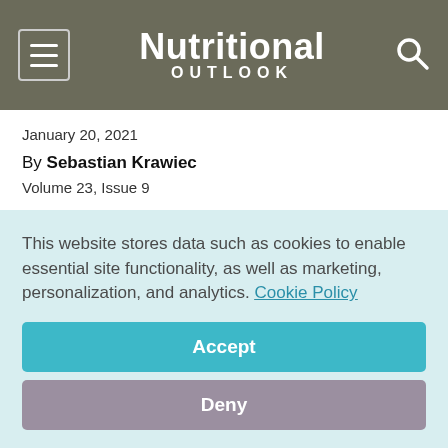Nutritional OUTLOOK
January 20, 2021
By Sebastian Krawiec
Volume 23, Issue 9
Success in the nutrition bar space requires consistent quality and continued innovation, including with fiber.
This website stores data such as cookies to enable essential site functionality, as well as marketing, personalization, and analytics. Cookie Policy
Accept
Deny